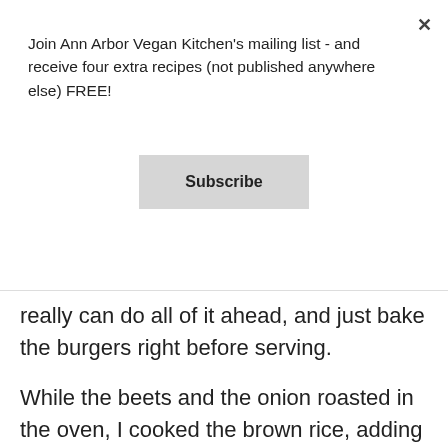Join Ann Arbor Vegan Kitchen's mailing list - and receive four extra recipes (not published anywhere else) FREE!
Subscribe
really can do all of it ahead, and just bake the burgers right before serving.
While the beets and the onion roasted in the oven, I cooked the brown rice, adding the beet greens to cook right along with the rice in my rice cooker. Rice would work in this recipe without greens, but I didn't want to waste the greens, because they enhance the